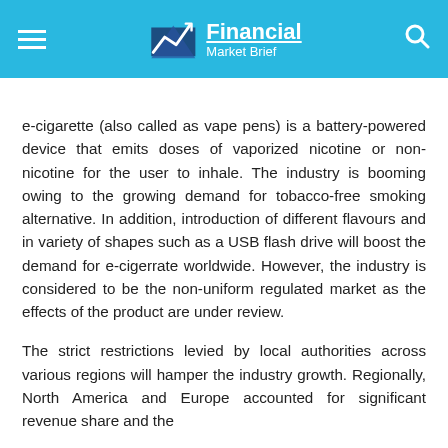Financial Market Brief
e-cigarette (also called as vape pens) is a battery-powered device that emits doses of vaporized nicotine or non-nicotine for the user to inhale. The industry is booming owing to the growing demand for tobacco-free smoking alternative. In addition, introduction of different flavours and in variety of shapes such as a USB flash drive will boost the demand for e-cigerrate worldwide. However, the industry is considered to be the non-uniform regulated market as the effects of the product are under review.
The strict restrictions levied by local authorities across various regions will hamper the industry growth. Regionally, North America and Europe accounted for significant revenue share and the